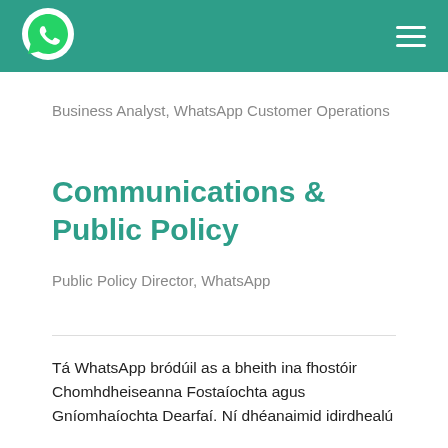WhatsApp logo and navigation header
Business Analyst, WhatsApp Customer Operations
Communications & Public Policy
Public Policy Director, WhatsApp
Tá WhatsApp bródúil as a bheith ina fhostóir Chomhdheiseanna Fostaíochta agus Gníomhaíochta Dearfaí. Ní dhéanaimid idirdhealú